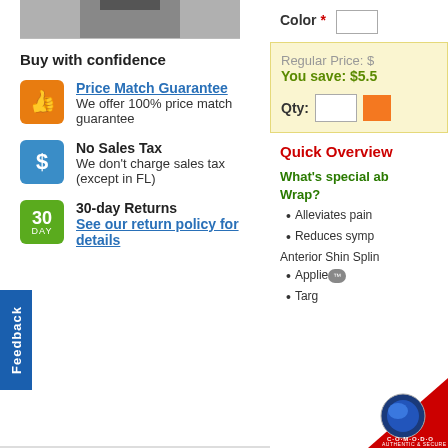[Figure (photo): Partial product image, cropped at top, showing lower portion of a person wearing a product]
Buy with confidence
Price Match Guarantee - We offer 100% price match guarantee
No Sales Tax - We don't charge sales tax (except in FL)
30-day Returns - See our return policy for details
Feedback
Color *
Regular Price: $
You save: $5.5
Qty:
Quick Overview
What's special ab... Wrap?
Alleviates pain
Reduces symp
Anterior Shin Splin
Applie...
Targ...
[Figure (logo): Comodo Authentic and Secure badge/logo at bottom right corner]